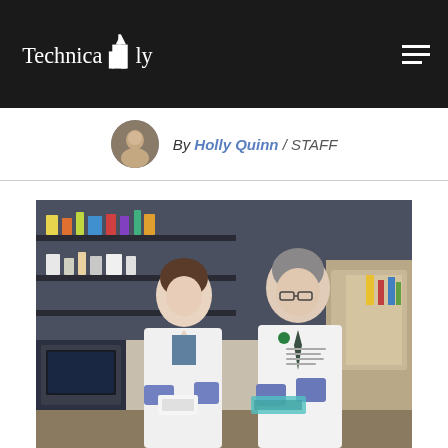Technically
By Holly Quinn / STAFF
[Figure (photo): Two researchers in white lab coats and blue gloves holding lab equipment in a laboratory setting. A younger woman on the left and an older man on the right, both smiling, surrounded by lab equipment and shelving.]